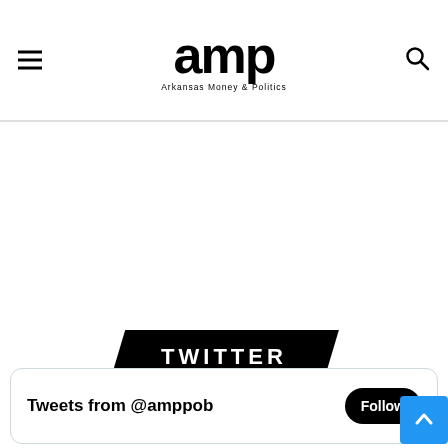amp — Arkansas Money & Politics
[Figure (logo): AMP - Arkansas Money & Politics logo with large bold 'amp' text and subtitle 'Arkansas Money & Politics']
TWITTER
Tweets from @amppob
Follow